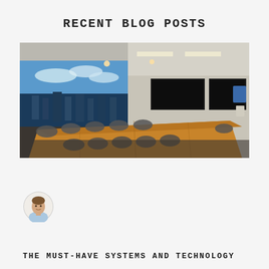RECENT BLOG POSTS
[Figure (photo): Conference room with a long wooden table surrounded by office chairs, large video wall display on the left wall showing a cityscape aerial view, two flat-screen TVs mounted on the right wall, modern office lighting.]
[Figure (photo): Circular avatar/headshot of a man in a light blue shirt against a white background.]
THE MUST-HAVE SYSTEMS AND TECHNOLOGY